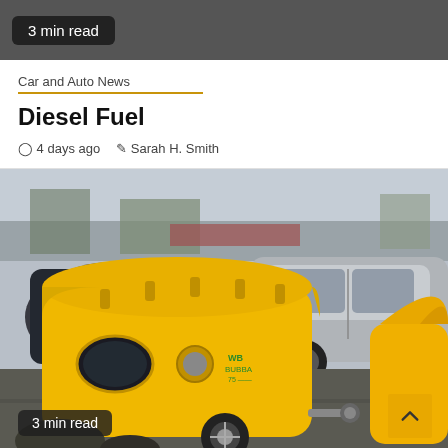3 min read
Car and Auto News
Diesel Fuel
4 days ago  Sarah H. Smith
[Figure (photo): Yellow custom-built compact teardrop trailer with porthole windows and chrome latches parked in a lot alongside other vehicles including a silver classic car and a dark SUV. A second yellow vehicle is partially visible on the right. A back-to-top button appears in the lower right corner.]
3 min read